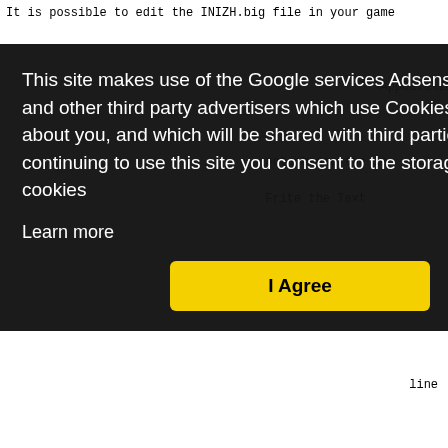It is possible to edit the INIZH.big file in your game
[Figure (screenshot): Cookie consent overlay popup with dark background containing text: 'This site makes use of the Google services Adsense Analytics, and other third party advertisers which use Cookies to collect data about you, and which will be shared with third parties. By continuing to use this site you consent to the storage of these cookies', a 'Learn more' link, and a yellow 'I Agree' button.]
* To change the template for this generated file go to
* Window>Preferences>Java>Code Generation>Code and Com
*/

public class CCZHCheat {

/**
* call this program with arg0=INIZH.big arg1=BuildCost
*/
public static void main(String[] args) {
try {
File f = new File(args[0]);